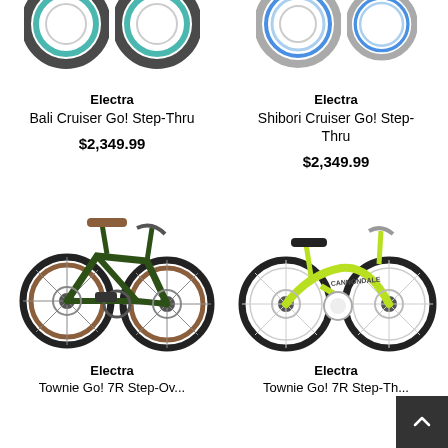[Figure (photo): Partial view of two bicycle wheels cropped at top - left product (teal/green wheels)]
[Figure (photo): Partial view of two bicycle wheels cropped at top - right product (blue/white wheels)]
Electra
Bali Cruiser Go! Step-Thru
$2,349.99
Electra
Shibori Cruiser Go! Step-Thru
$2,349.99
[Figure (photo): Dark green Electra cruiser bicycle with brown leather seat and tan sidewall tires, front disc brake, shown from left side]
[Figure (photo): Bright yellow-green Electra cruiser bicycle with black seat and white rims, front disc brake, shown from left side]
Electra
Townie Go! 7R Step-Ov...
Electra
Townie Go! 7R Step-Th...